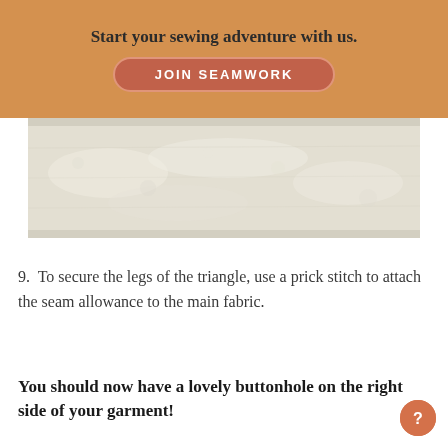Start your sewing adventure with us.
[Figure (other): JOIN SEAMWORK button on orange banner background]
[Figure (photo): Close-up photo of off-white/cream textured fabric showing seam allowance area]
9. To secure the legs of the triangle, use a prick stitch to attach the seam allowance to the main fabric.
You should now have a lovely buttonhole on the right side of your garment!